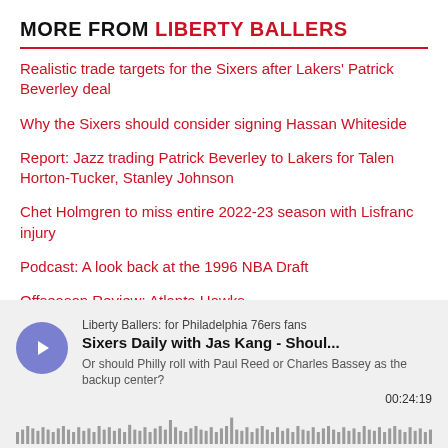MORE FROM LIBERTY BALLERS
Realistic trade targets for the Sixers after Lakers' Patrick Beverley deal
Why the Sixers should consider signing Hassan Whiteside
Report: Jazz trading Patrick Beverley to Lakers for Talen Horton-Tucker, Stanley Johnson
Chet Holmgren to miss entire 2022-23 season with Lisfranc injury
Podcast: A look back at the 1996 NBA Draft
Offseason Review: Atlanta Hawks
[Figure (other): Podcast player widget showing: Liberty Ballers: for Philadelphia 76ers fans / Sixers Daily with Jas Kang - Shoul... / Or should Philly roll with Paul Reed or Charles Bassey as the backup center? / 00:24:19 / audio waveform]